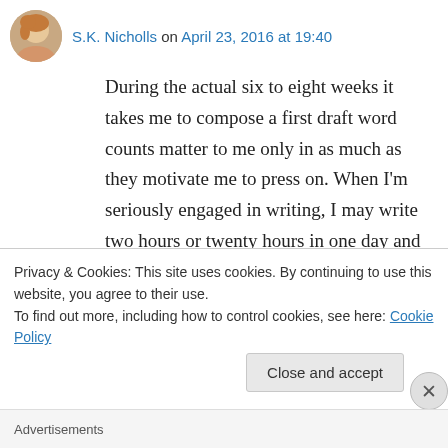S.K. Nicholls on April 23, 2016 at 19:40
During the actual six to eight weeks it takes me to compose a first draft word counts matter to me only in as much as they motivate me to press on. When I'm seriously engaged in writing, I may write two hours or twenty hours in one day and press on through time until it's come full around. Time seems more critical to me than word count and the word count retrospectively becomes a way to monitor how effective I'm using my time. I
Privacy & Cookies: This site uses cookies. By continuing to use this website, you agree to their use.
To find out more, including how to control cookies, see here: Cookie Policy
Close and accept
Advertisements